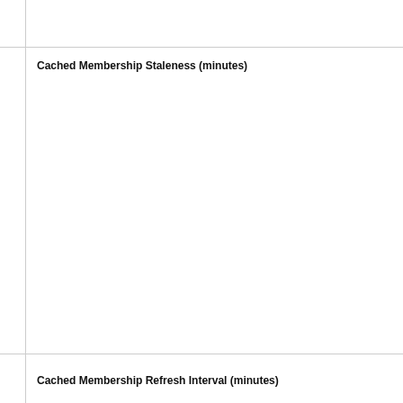Cached Membership Staleness (minutes)
Cached Membership Refresh Interval (minutes)